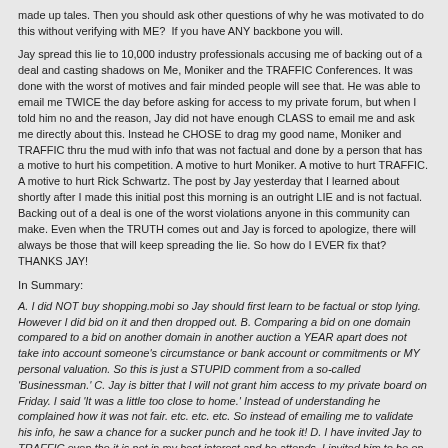made up tales. Then you should ask other questions of why he was motivated to do this without verifying with ME? If you have ANY backbone you will.
Jay spread this lie to 10,000 industry professionals accusing me of backing out of a deal and casting shadows on Me, Moniker and the TRAFFIC Conferences. It was done with the worst of motives and fair minded people will see that. He was able to email me TWICE the day before asking for access to my private forum, but when I told him no and the reason, Jay did not have enough CLASS to email me and ask me directly about this. Instead he CHOSE to drag my good name, Moniker and TRAFFIC thru the mud with info that was not factual and done by a person that has a motive to hurt his competition. A motive to hurt Moniker. A motive to hurt TRAFFIC. A motive to hurt Rick Schwartz. The post by Jay yesterday that I learned about shortly after I made this initial post this morning is an outright LIE and is not factual. Backing out of a deal is one of the worst violations anyone in this community can make. Even when the TRUTH comes out and Jay is forced to apologize, there will always be those that will keep spreading the lie. So how do I EVER fix that? THANKS JAY!
In Summary:
A. I did NOT buy shopping.mobi so Jay should first learn to be factual or stop lying. However I did bid on it and then dropped out. B. Comparing a bid on one domain compared to a bid on another domain in another auction a YEAR apart does not take into account someone's circumstance or bank account or commitments or MY personal valuation. So this is just a STUPID comment from a so-called 'Businessman.' C. Jay is bitter that I will not grant him access to my private board on Friday. I said 'It was a little too close to home.' Instead of understanding he complained how it was not fair. etc. etc. etc. So instead of emailing me to validate his info, he saw a chance for a sucker punch and he took it! D. I have invited Jay to TRAFFIC even tho it is not in my best interest and he attends. I invited him to be on a panel even tho it is not in my best interest and put him on 'Meet the bloggers'. In return this is what we get!!?? A post done only to hurt the premiere show and auction in our space and cast false shadows that hurts everyone and every business whether you realize it or not. We are all on the same boat and those that drill holes in the bottom to try and sink their competition are being foolish and selfish at best and something I can't say publicly at worst. E. Finally, Jay wants to hijack the subject of 'Transparency' the subject that TRAFFIC announced it will focus on in our Las Vegas show in February. Fine, let's start with Jay. With his way of doing business and selling private info about others......He certainly proved he does not have the credentials to lead the way into a transparent business.